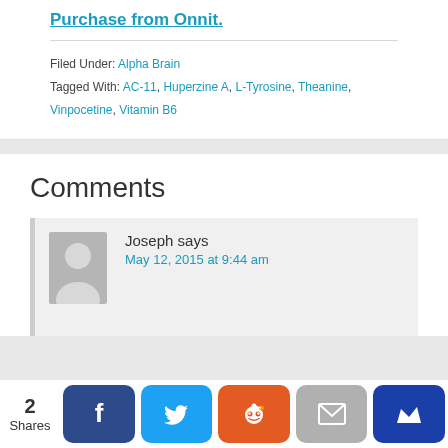Purchase from Onnit.
Filed Under: Alpha Brain
Tagged With: AC-11, Huperzine A, L-Tyrosine, Theanine, Vinpocetine, Vitamin B6
Comments
Joseph says May 12, 2015 at 9:44 am
[Figure (other): Social share bar with counts: 2 Shares, Facebook, Twitter, Reddit, Email, Crown buttons]